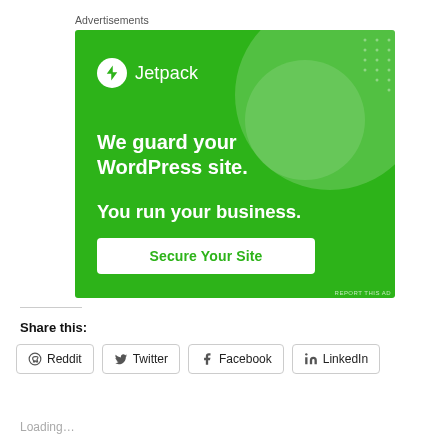Advertisements
[Figure (illustration): Jetpack advertisement banner on green background. Shows Jetpack logo (white circle with lightning bolt), tagline 'We guard your WordPress site. You run your business.' and a white 'Secure Your Site' button. Decorative translucent circles in top-right. Small 'REPORT THIS AD' text at bottom-right.]
Share this:
Reddit
Twitter
Facebook
LinkedIn
Loading...